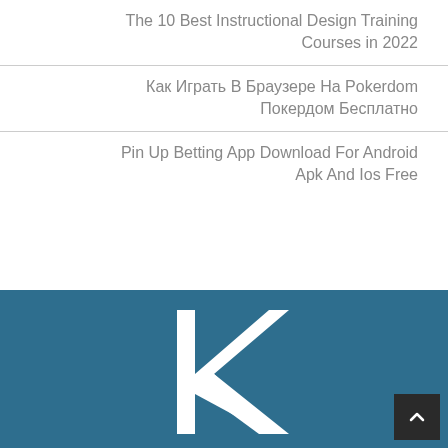The 10 Best Instructional Design Training Courses in 2022
Как Играть В Браузере На Pokerdom Покердом Бесплатно
Pin Up Betting App Download For Android Apk And Ios Free
[Figure (logo): White stylized K letter logo on teal/dark blue background]